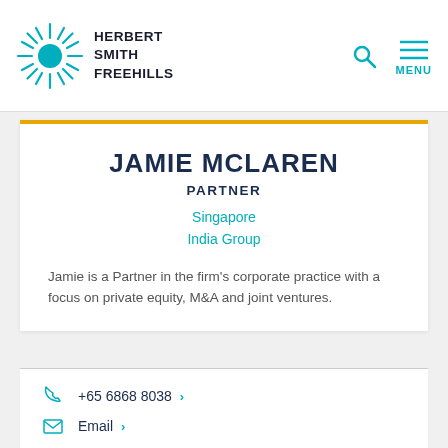Herbert Smith Freehills
JAMIE MCLAREN
PARTNER
Singapore
India Group
Jamie is a Partner in the firm's corporate practice with a focus on private equity, M&A and joint ventures.
+65 6868 8038 >
Email >
vCard >